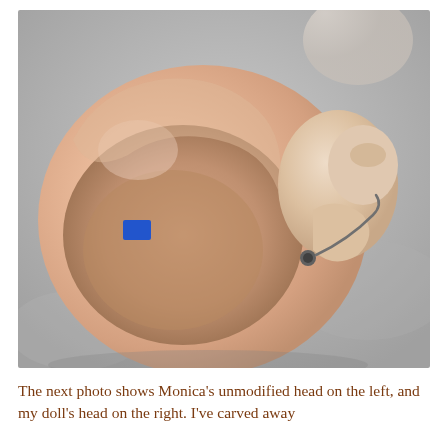[Figure (photo): A close-up photograph of a hollow doll head lying on its side on a gray surface. The head is pink/peach colored with a small blue rectangular label on one side. The face features a small sculpted nose and a gray metallic eyelet or hook detail. The inside of the head is visible showing the hollow interior.]
The next photo shows Monica's unmodified head on the left, and my doll's head on the right. I've carved away